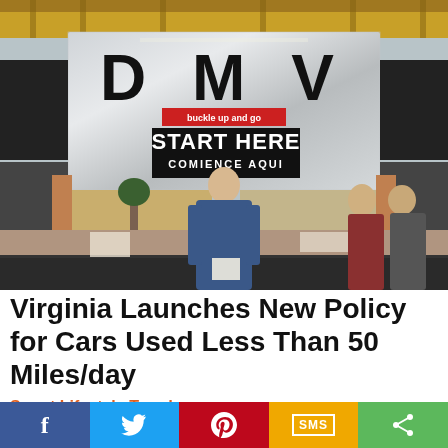[Figure (photo): Interior of a DMV office showing a large silver sign with 'D M V' in bold black letters, a 'START HERE / COMIENCE AQUI' sign below it, and people standing at a service counter.]
Virginia Launches New Policy for Cars Used Less Than 50 Miles/day
Smart Lifestyle Trends
[Figure (other): Social media sharing buttons bar: Facebook (blue), Twitter (light blue), Pinterest (red), SMS (yellow/orange), Share (green)]